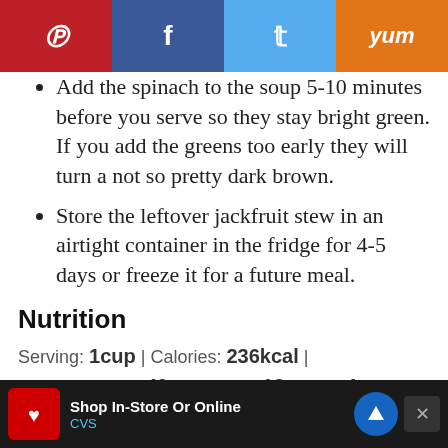[Figure (other): Social media share bar with Pinterest (red), Facebook (dark blue), Twitter (light blue), and Yummly (orange) buttons]
Add the spinach to the soup 5-10 minutes before you serve so they stay bright green. If you add the greens too early they will turn a not so pretty dark brown.
Store the leftover jackfruit stew in an airtight container in the fridge for 4-5 days or freeze it for a future meal.
Nutrition
Serving: 1cup | Calories: 236kcal | Carbohydrates: 49g | Protein: 12g | Fat: 1g | Saturated Fat: 1g | Sodium: 587mg | Potassium: 900mg | Fiber: 11g | Sugar: 4…
[Figure (other): CVS Pharmacy advertisement banner at the bottom: Shop In-Store Or Online, CVS logo, navigation icon, close button]